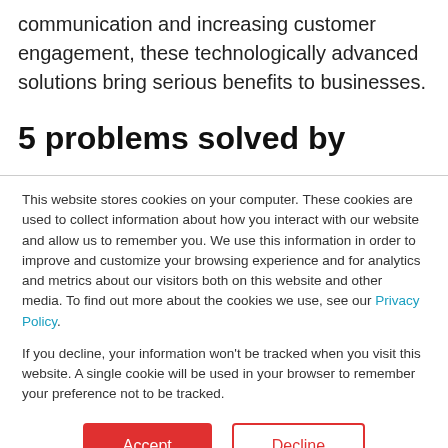communication and increasing customer engagement, these technologically advanced solutions bring serious benefits to businesses.
5 problems solved by
This website stores cookies on your computer. These cookies are used to collect information about how you interact with our website and allow us to remember you. We use this information in order to improve and customize your browsing experience and for analytics and metrics about our visitors both on this website and other media. To find out more about the cookies we use, see our Privacy Policy.
If you decline, your information won't be tracked when you visit this website. A single cookie will be used in your browser to remember your preference not to be tracked.